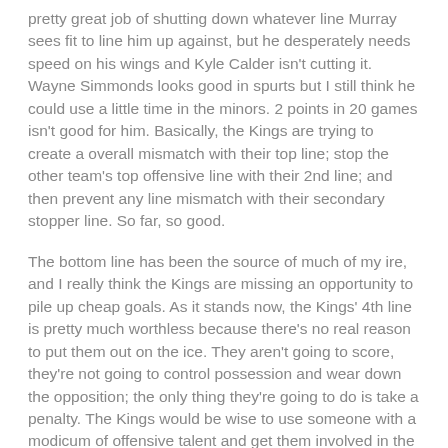pretty great job of shutting down whatever line Murray sees fit to line him up against, but he desperately needs speed on his wings and Kyle Calder isn't cutting it. Wayne Simmonds looks good in spurts but I still think he could use a little time in the minors. 2 points in 20 games isn't good for him. Basically, the Kings are trying to create a overall mismatch with their top line; stop the other team's top offensive line with their 2nd line; and then prevent any line mismatch with their secondary stopper line. So far, so good.
The bottom line has been the source of much of my ire, and I really think the Kings are missing an opportunity to pile up cheap goals. As it stands now, the Kings' 4th line is pretty much worthless because there's no real reason to put them out on the ice. They aren't going to score, they're not going to control possession and wear down the opposition; the only thing they're going to do is take a penalty. The Kings would be wise to use someone with a modicum of offensive talent and get them involved in the game instead of using John Fucking Zeiler.* A line like Armstrong-Boyle-Richardson would actually help the Kings win a game, which is much more than I can say for Ivanans and Zeiler.